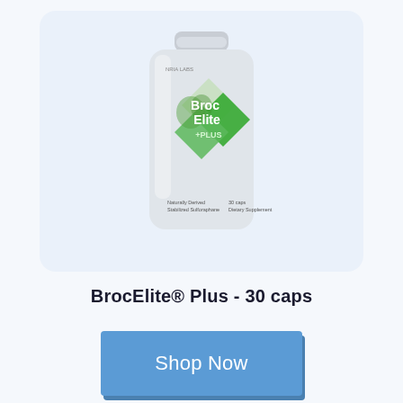[Figure (photo): BrocElite Plus supplement bottle with green diamond label design showing broccoli imagery, on a light blue rounded card background]
BrocElite® Plus - 30 caps
Shop Now